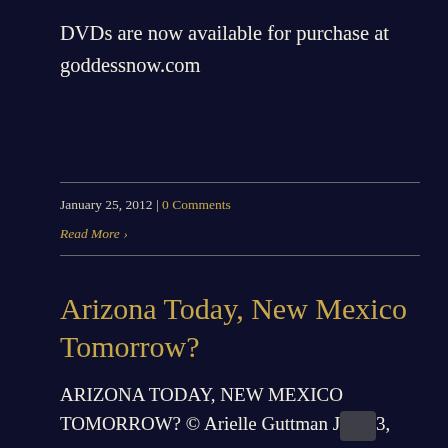DVDs are now available for purchase at goddessnow.com
January 25, 2012 | 0 Comments
Read More >
Arizona Today, New Mexico Tomorrow?
ARIZONA TODAY, NEW MEXICO TOMORROW? © Arielle Guttman J[...] 3, 2011 Summer in Santa Fe is a time when people